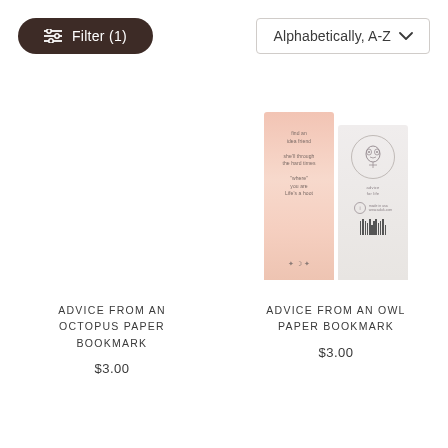Filter (1)
Alphabetically, A-Z
[Figure (photo): Two paper bookmarks partially visible at top: a pink bookmark with text and a white/grey bookmark with logo and barcode]
ADVICE FROM AN OCTOPUS PAPER BOOKMARK
$3.00
ADVICE FROM AN OWL PAPER BOOKMARK
$3.00